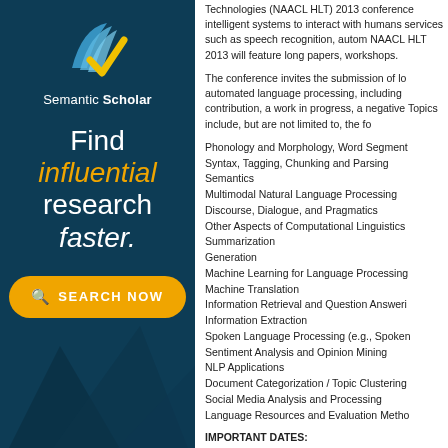[Figure (logo): Semantic Scholar logo and advertisement with 'Find influential research faster.' tagline and Search Now button on dark teal background.]
Technologies (NAACL HLT) 2013 conference intelligent systems to interact with humans services such as speech recognition, autom NAACL HLT 2013 will feature long papers, workshops.
The conference invites the submission of lo automated language processing, including contribution, a work in progress, a negative Topics include, but are not limited to, the fo
Phonology and Morphology, Word Segment
Syntax, Tagging, Chunking and Parsing
Semantics
Multimodal Natural Language Processing
Discourse, Dialogue, and Pragmatics
Other Aspects of Computational Linguistics
Summarization
Generation
Machine Learning for Language Processing
Machine Translation
Information Retrieval and Question Answeri
Information Extraction
Spoken Language Processing (e.g., Spoken
Sentiment Analysis and Opinion Mining
NLP Applications
Document Categorization / Topic Clustering
Social Media Analysis and Processing
Language Resources and Evaluation Metho
IMPORTANT DATES: